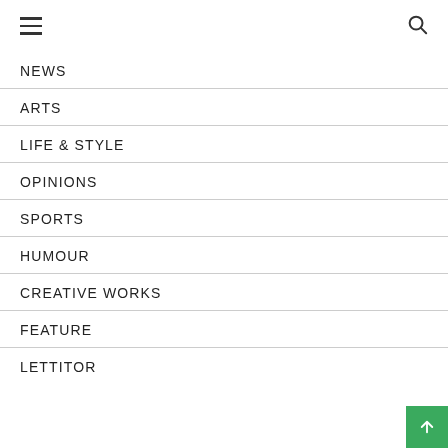Navigation menu with hamburger and search icons
NEWS
ARTS
LIFE & STYLE
OPINIONS
SPORTS
HUMOUR
CREATIVE WORKS
FEATURE
LETTITOR